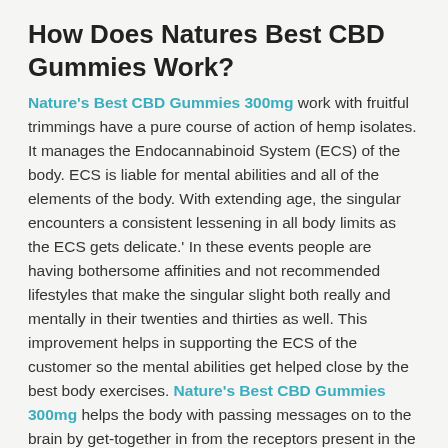How Does Natures Best CBD Gummies Work?
Nature's Best CBD Gummies 300mg work with fruitful trimmings have a pure course of action of hemp isolates. It manages the Endocannabinoid System (ECS) of the body. ECS is liable for mental abilities and all of the elements of the body. With extending age, the singular encounters a consistent lessening in all body limits as the ECS gets delicate.' In these events people are having bothersome affinities and not recommended lifestyles that make the singular slight both really and mentally in their twenties and thirties as well. This improvement helps in supporting the ECS of the customer so the mental abilities get helped close by the best body exercises. Nature's Best CBD Gummies 300mg helps the body with passing messages on to the brain by get-together in from the receptors present in the body. The frontal cortex